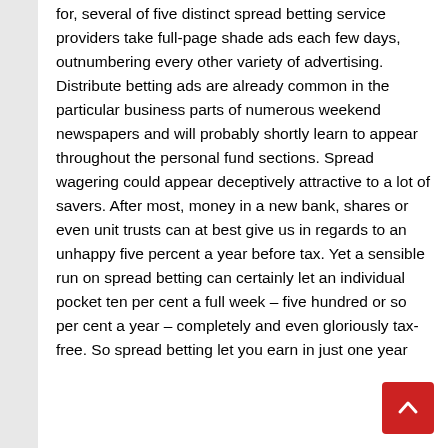for, several of five distinct spread betting service providers take full-page shade ads each few days, outnumbering every other variety of advertising. Distribute betting ads are already common in the particular business parts of numerous weekend newspapers and will probably shortly learn to appear throughout the personal fund sections. Spread wagering could appear deceptively attractive to a lot of savers. After most, money in a new bank, shares or even unit trusts can at best give us in regards to an unhappy five percent a year before tax. Yet a sensible run on spread betting can certainly let an individual pocket ten per cent a full week – five hundred or so per cent a year – completely and even gloriously tax-free. So spread betting let you earn in just one year